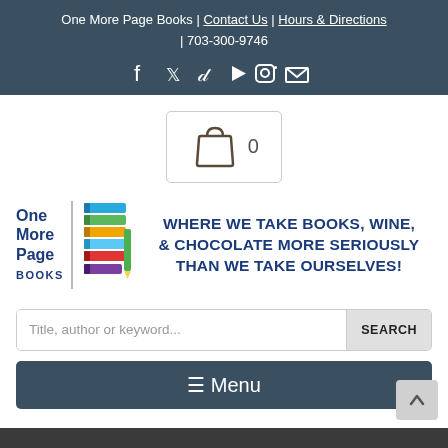One More Page Books | Contact Us | Hours & Directions | 703-300-9746
[Figure (screenshot): Social media icons: Facebook, Twitter, TikTok, YouTube, Instagram, Email]
[Figure (screenshot): Shopping cart icon with count 0]
[Figure (logo): One More Page Books logo with colorful stacked books]
WHERE WE TAKE BOOKS, WINE, & CHOCOLATE MORE SERIOUSLY THAN WE TAKE OURSELVES!
Title, author or keyword... SEARCH
≡ Menu